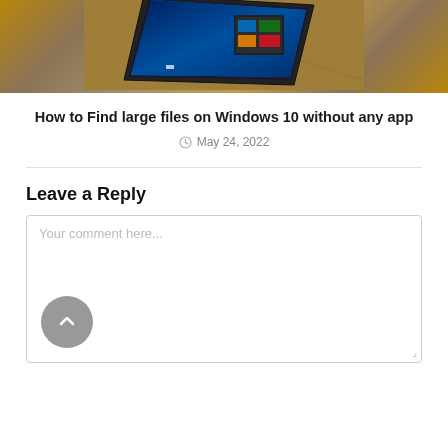[Figure (photo): Photo of a tablet/laptop device lying on a carpet surface showing a Windows 10 screen, viewed from an angle]
How to Find large files on Windows 10 without any app
May 24, 2022
Leave a Reply
Your comment here...